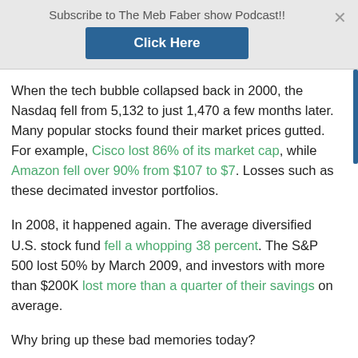Subscribe to The Meb Faber show Podcast!!
Click Here
When the tech bubble collapsed back in 2000, the Nasdaq fell from 5,132 to just 1,470 a few months later. Many popular stocks found their market prices gutted. For example, Cisco lost 86% of its market cap, while Amazon fell over 90% from $107 to $7. Losses such as these decimated investor portfolios.
In 2008, it happened again. The average diversified U.S. stock fund fell a whopping 38 percent. The S&P 500 lost 50% by March 2009, and investors with more than $200K lost more than a quarter of their savings on average.
Why bring up these bad memories today?
Well, as we get closer to the end of this bull market